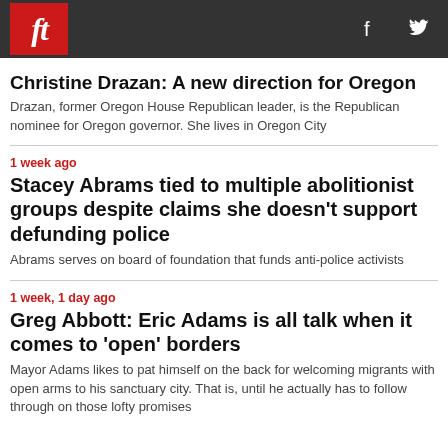ft
Christine Drazan: A new direction for Oregon
Drazan, former Oregon House Republican leader, is the Republican nominee for Oregon governor. She lives in Oregon City
1 week ago
Stacey Abrams tied to multiple abolitionist groups despite claims she doesn't support defunding police
Abrams serves on board of foundation that funds anti-police activists
1 week, 1 day ago
Greg Abbott: Eric Adams is all talk when it comes to 'open' borders
Mayor Adams likes to pat himself on the back for welcoming migrants with open arms to his sanctuary city. That is, until he actually has to follow through on those lofty promises